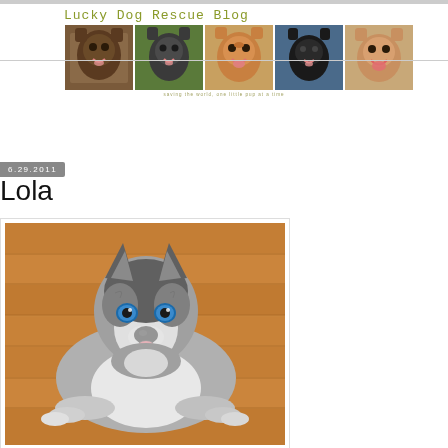Lucky Dog Rescue Blog
[Figure (photo): Blog header with 'Lucky Dog Rescue Blog' title in olive/green handwritten font and a strip of five dog photos below it]
saving the world, one little pup at a time
6.29.2011
Lola
[Figure (photo): A Siberian Husky dog with striking blue eyes lying on a hardwood floor, looking up at the camera]